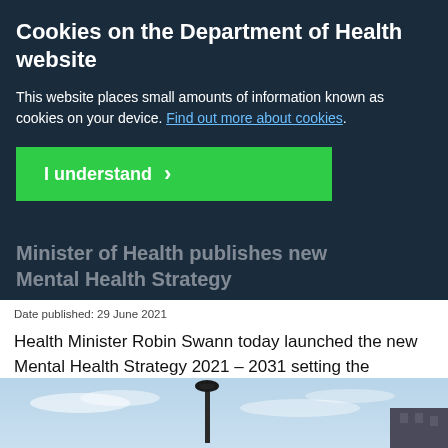Cookies on the Department of Health website
This website places small amounts of information known as cookies on your device. Find out more about cookies.
I understand >
Minister of Health publishes new Mental Health Strategy
Date published: 29 June 2021
Health Minister Robin Swann today launched the new Mental Health Strategy 2021 – 2031 setting the strategic direction for mental health in Northern Ireland for the next decade.
[Figure (photo): Photo of a street scene with a lamp post against a blue sky]